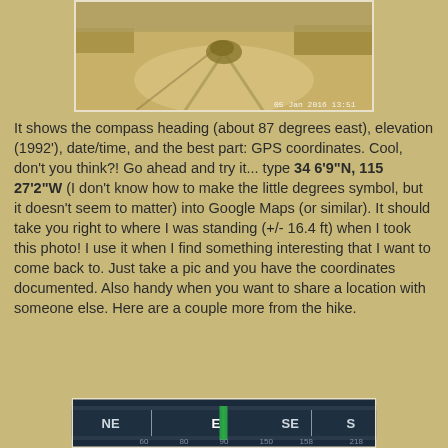[Figure (photo): Desert sandy ground with tire tracks or footpaths, dry brush visible, photo taken outdoors with GPS camera overlay timestamp visible at bottom right]
It shows the compass heading (about 87 degrees east), elevation (1992'), date/time, and the best part: GPS coordinates. Cool, don't you think?! Go ahead and try it... type 34 6'9"N, 115 27'2"W (I don't know how to make the little degrees symbol, but it doesn't seem to matter) into Google Maps (or similar). It should take you right to where I was standing (+/- 16.4 ft) when I took this photo! I use it when I find something interesting that I want to come back to. Just take a pic and you have the coordinates documented. Also handy when you want to share a location with someone else. Here are a couple more from the hike.
[Figure (photo): GPS compass app showing NE, E, SE, S cardinal directions with heading display, dark background with colored compass bar]